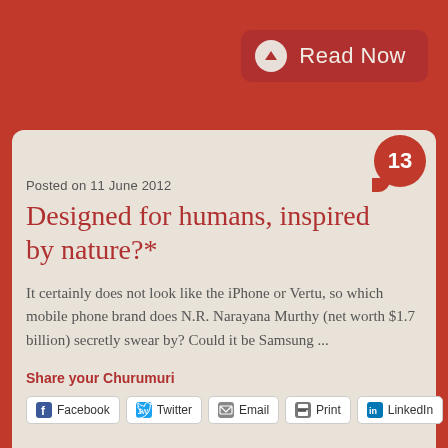[Figure (screenshot): Red 'Read Now' button with upward arrow circle icon on dark red background]
Posted on 11 June 2012
Designed for humans, inspired by nature?*
It certainly does not look like the iPhone or Vertu, so which mobile phone brand does N.R. Narayana Murthy (net worth $1.7 billion) secretly swear by? Could it be Samsung ...
Share your Churumuri
[Figure (infographic): Social share buttons: Facebook, Twitter, Email, Print, LinkedIn]